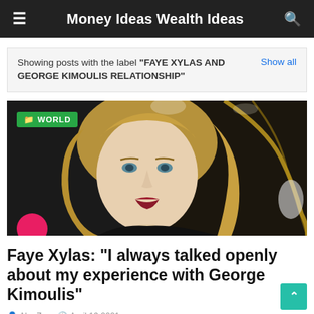Money Ideas Wealth Ideas
Showing posts with the label "FAYE XYLAS AND GEORGE KIMOULIS RELATIONSHIP"
[Figure (photo): Portrait photograph of a blonde woman with blue eyes, wearing dark clothing, against a dark background with decorative golden elements. A green 'WORLD' badge is overlaid in the top-left corner.]
Faye Xylas: "I always talked openly about my experience with George Kimoulis"
Abu Zar   April 19 2021